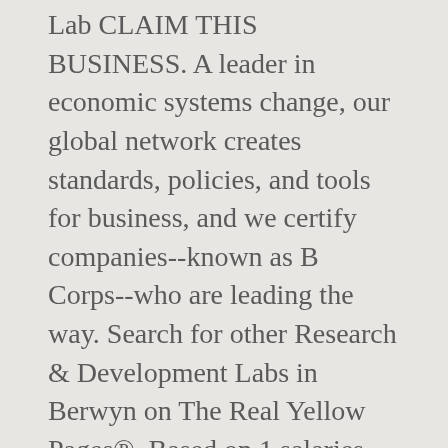Lab CLAIM THIS BUSINESS. A leader in economic systems change, our global network creates standards, policies, and tools for business, and we certify companies--known as B Corps--who are leading the way. Search for other Research & Development Labs in Berwyn on The Real Yellow Pages®. Based on 1 salaries posted anonymously by B Lab Associate employees in Berwyn. Last year we ran a piece about an ambitious four-year-old outfit called B Lab, that's trying to get companies to commit to doing good while making money. 16 Reviews. B Lab. B Lab CLAIM THIS BUSINESS. Hepatitis B Testing in Berwyn, Pennsylvania Same day, Confidential and Affordable Hepatitis B Testing, Locations Nationwide. 15 WATERLOO AVE